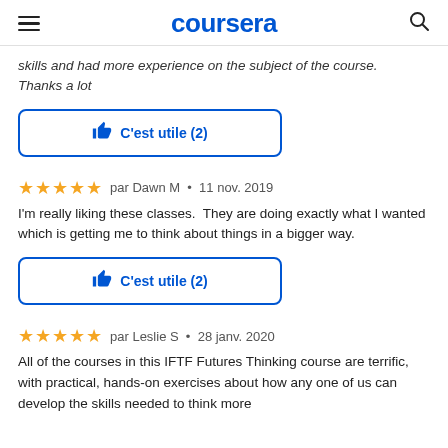coursera
skills and had more experience on the subject of the course. Thanks a lot
C'est utile (2)
par Dawn M • 11 nov. 2019
I'm really liking these classes.  They are doing exactly what I wanted which is getting me to think about things in a bigger way.
C'est utile (2)
par Leslie S • 28 janv. 2020
All of the courses in this IFTF Futures Thinking course are terrific, with practical, hands-on exercises about how any one of us can develop the skills needed to think more